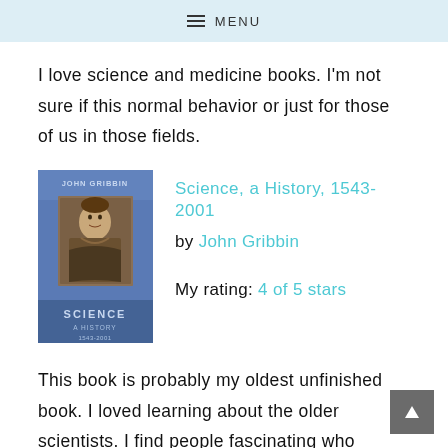MENU
I love science and medicine books. I'm not sure if this normal behavior or just for those of us in those fields.
[Figure (photo): Book cover of 'Science, A History 1543-2001' by John Gribbin. Blue cover with portrait painting of a historical figure and text 'JOHN GRIBBIN' at top, 'SCIENCE A HISTORY 1543-2001' at bottom.]
Science, a History, 1543-2001
by John Gribbin
My rating: 4 of 5 stars
This book is probably my oldest unfinished book. I loved learning about the older scientists. I find people fascinating who decided to make it their life's work to figure